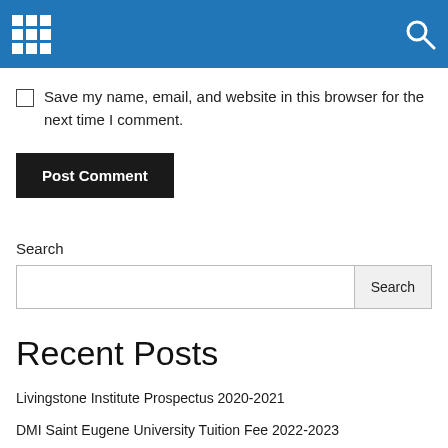[Navigation bar with grid icon and search icon]
Save my name, email, and website in this browser for the next time I comment.
Post Comment
Search
Recent Posts
Livingstone Institute Prospectus 2020-2021
DMI Saint Eugene University Tuition Fee 2022-2023